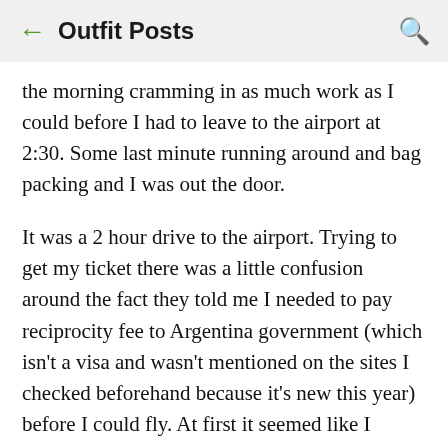← Outfit Posts 🔍
the morning cramming in as much work as I could before I had to leave to the airport at 2:30. Some last minute running around and bag packing and I was out the door.
It was a 2 hour drive to the airport. Trying to get my ticket there was a little confusion around the fact they told me I needed to pay reciprocity fee to Argentina government (which isn't a visa and wasn't mentioned on the sites I checked beforehand because it's new this year) before I could fly. At first it seemed like I wasn't going to